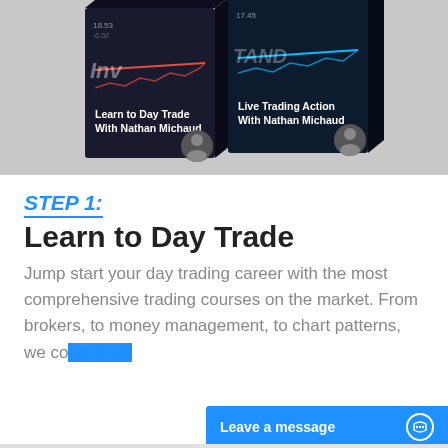[Figure (photo): Two dark-themed trading course box sets: 'Learn to Day Trade With Nathan Michaud' and 'Live Trading Action With Nathan Michaud', shown at an angle with stock chart graphics and person silhouettes on the boxes.]
STEP 1:
Learn to Day Trade
Jump start your day trading career with the most comprehensive trading courses on the market. From brokers, to money management, to chart patterns, we cover it all!